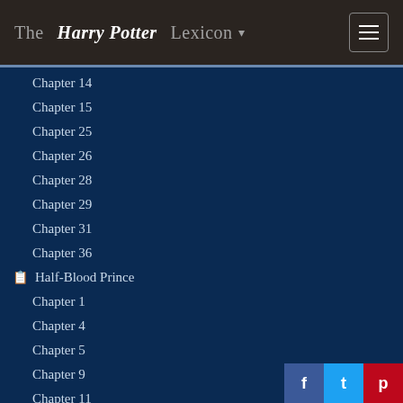The Harry Potter Lexicon
Chapter 14
Chapter 15
Chapter 25
Chapter 26
Chapter 28
Chapter 29
Chapter 31
Chapter 36
Half-Blood Prince
Chapter 1
Chapter 4
Chapter 5
Chapter 9
Chapter 11
Chapter 15
Chapter 16